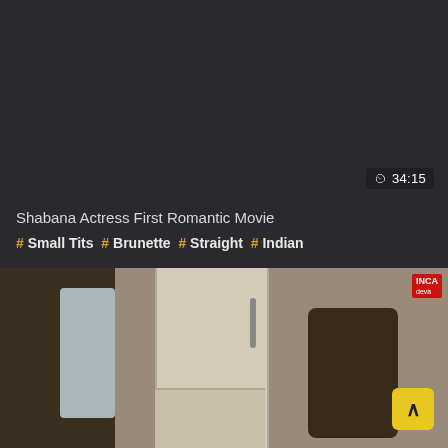34:15
Shabana Actress First Romantic Movie
# Small Tits # Brunette # Straight # Indian
[Figure (photo): Video thumbnail showing a woman in a white outfit with a dark backpack in a kitchen setting with a refrigerator and water dispenser visible]